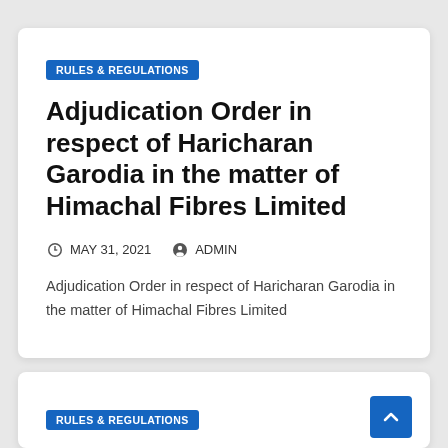RULES & REGULATIONS
Adjudication Order in respect of Haricharan Garodia in the matter of Himachal Fibres Limited
MAY 31, 2021   ADMIN
Adjudication Order in respect of Haricharan Garodia in the matter of Himachal Fibres Limited
RULES & REGULATIONS